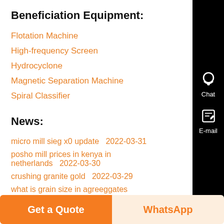Beneficiation Equipment:
Flotation Machine
High-frequency Screen
Hydrocyclone
Magnetic Separation Machine
Spiral Classifier
News:
micro mill sieg x0 update  2022-03-31
posho mill prices in kenya in netherlands  2022-03-30
crushing granite gold  2022-03-29
what is grain size in agreeggates stones  2022-03-28